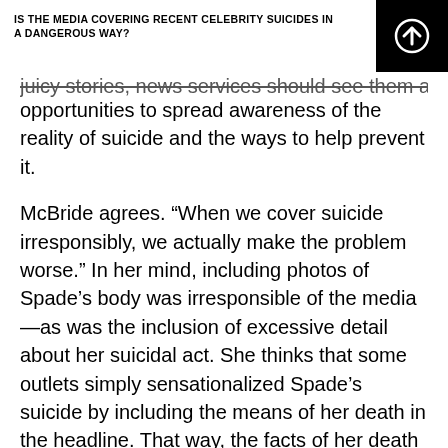IS THE MEDIA COVERING RECENT CELEBRITY SUICIDES IN A DANGEROUS WAY?
juicy stories, news services should see them as opportunities to spread awareness of the reality of suicide and the ways to help prevent it.
McBride agrees. “When we cover suicide irresponsibly, we actually make the problem worse.” In her mind, including photos of Spade’s body was irresponsible of the media—as was the inclusion of excessive detail about her suicidal act. She thinks that some outlets simply sensationalized Spade’s suicide by including the means of her death in the headline. That way, the facts of her death acted as clickbait rather than as the sad details of a tragedy. “If you feel compelled to state the means of death,” McBride writes, “you need to do it in a way that doesn’t make it the focal point.”